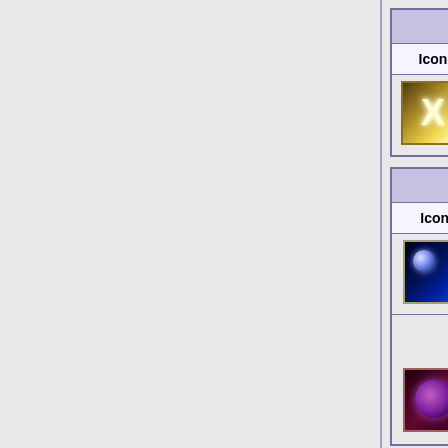| Icon | Name | Charge Atta... |
| --- | --- | --- |
| [icon: Scuro Helfiore] | Scuro Helfiore | 200% Dam... cap: ~1,42... Also deal... (Damage... |
| Icon | Name | Cooldown... |
| --- | --- | --- |
| [icon: Abbysian Magic] | Abbysian Magic | 6 turns Lvl 45: 5 turns |
| [icon: Crimson Zeal] | Crimson Zeal | 6 turns Lvl 65: 5 turns |